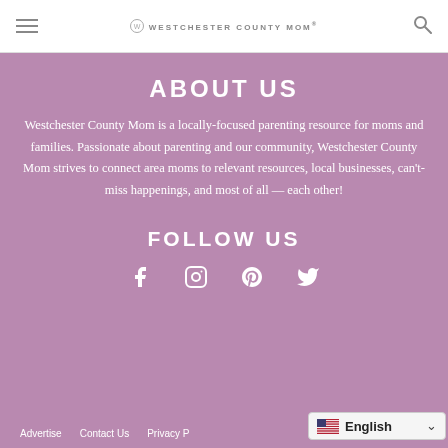WESTCHESTER COUNTY MOM
ABOUT US
Westchester County Mom is a locally-focused parenting resource for moms and families. Passionate about parenting and our community, Westchester County Mom strives to connect area moms to relevant resources, local businesses, can't-miss happenings, and most of all — each other!
FOLLOW US
[Figure (infographic): Social media icons: Facebook, Instagram, Pinterest, Twitter displayed as white outline icons on purple background]
Advertise   Contact Us   Privacy P...
[Figure (infographic): Language selector widget showing English with US flag and dropdown arrow]